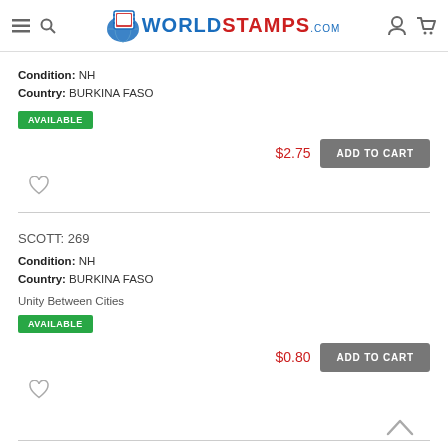WorldStamps.com
Condition: NH
Country: BURKINA FASO
AVAILABLE
$2.75
ADD TO CART
SCOTT: 269
Condition: NH
Country: BURKINA FASO
Unity Between Cities
AVAILABLE
$0.80
ADD TO CART